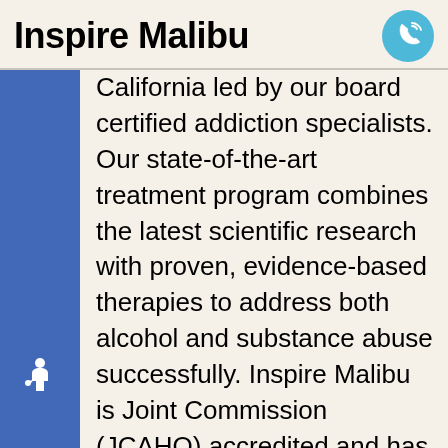Inspire Malibu
California led by our board certified addiction specialists. Our state-of-the-art treatment program combines the latest scientific research with proven, evidence-based therapies to address both alcohol and substance abuse successfully. Inspire Malibu is Joint Commission (JCAHO) accredited and has been designated a Higher Level of Care from the Department of Health Care Services. We are also uniquely qualified to address dual